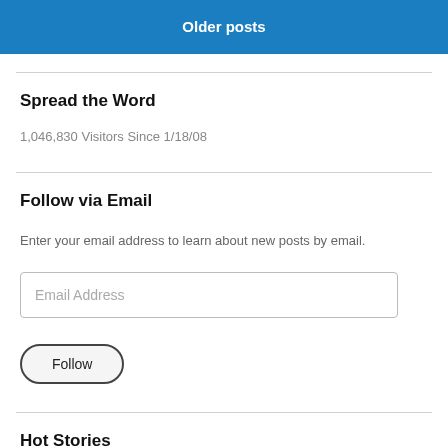Older posts
Spread the Word
1,046,830 Visitors Since 1/18/08
Follow via Email
Enter your email address to learn about new posts by email.
Email Address
Follow
Hot Stories